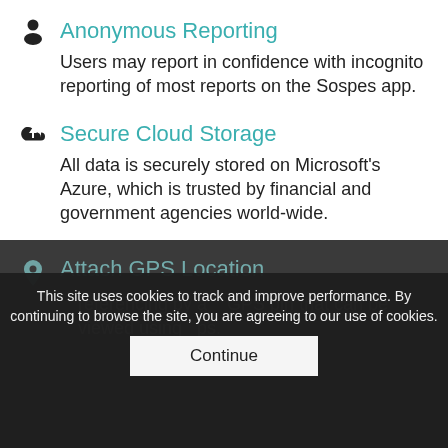Anonymous Reporting
Users may report in confidence with incognito reporting of most reports on the Sospes app.
Secure Cloud Storage
All data is securely stored on Microsoft's Azure, which is trusted by financial and government agencies world-wide.
Automated OSHA Forms
Submitted reports are used to generate OSHA forms (300, 300A & 301) electronically.
Attach Photos
Attach photos and descriptions to any report.
Attach GPS Location
referencing by a ... GPS pin that can be viewed using ... ps.
This site uses cookies to track and improve performance. By continuing to browse the site, you are agreeing to our use of cookies.